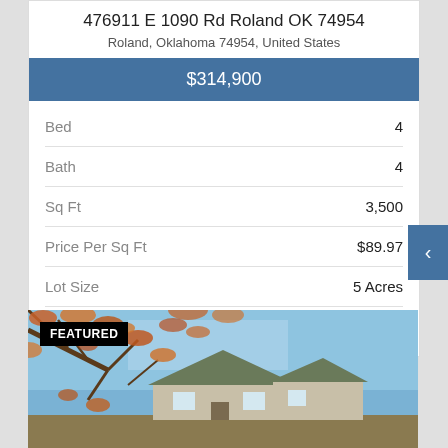476911 E 1090 Rd Roland OK 74954
Roland, Oklahoma 74954, United States
$314,900
|  |  |
| --- | --- |
| Bed | 4 |
| Bath | 4 |
| Sq Ft | 3,500 |
| Price Per Sq Ft | $89.97 |
| Lot Size | 5 Acres |
| Type | Residential |
[Figure (photo): Exterior photo of a residential house with autumn tree branches in foreground, blue sky background. 'FEATURED' badge in upper left.]